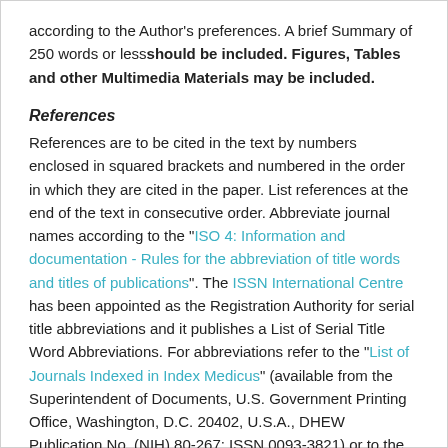according to the Author's preferences. A brief Summary of 250 words or less should be included. Figures, Tables and other Multimedia Materials may be included.
References
References are to be cited in the text by numbers enclosed in squared brackets and numbered in the order in which they are cited in the paper. List references at the end of the text in consecutive order. Abbreviate journal names according to the "ISO 4: Information and documentation - Rules for the abbreviation of title words and titles of publications". The ISSN International Centre has been appointed as the Registration Authority for serial title abbreviations and it publishes a List of Serial Title Word Abbreviations. For abbreviations refer to the "List of Journals Indexed in Index Medicus" (available from the Superintendent of Documents, U.S. Government Printing Office, Washington, D.C. 20402, U.S.A., DHEW Publication No. (NIH) 80-267; ISSN 0093-3821) or to the "NCBI PubMed Journal Browser".